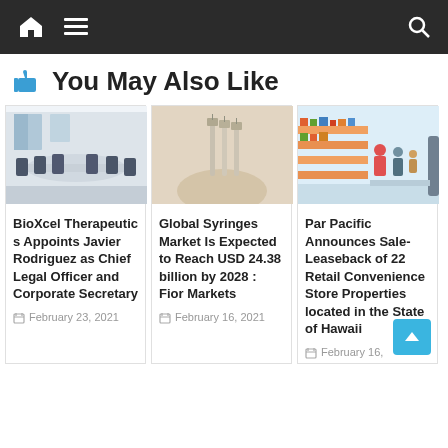Navigation bar with home, menu, and search icons
👍 You May Also Like
[Figure (photo): Boardroom with long conference table and chairs]
BioXcel Therapeutics Appoints Javier Rodriguez as Chief Legal Officer and Corporate Secretary
February 23, 2021
[Figure (photo): Hand holding syringes on beige background]
Global Syringes Market Is Expected to Reach USD 24.38 billion by 2028 : Fior Markets
February 16, 2021
[Figure (photo): People shopping in a grocery store aisle]
Par Pacific Announces Sale-Leaseback of 22 Retail Convenience Store Properties located in the State of Hawaii
February 16,